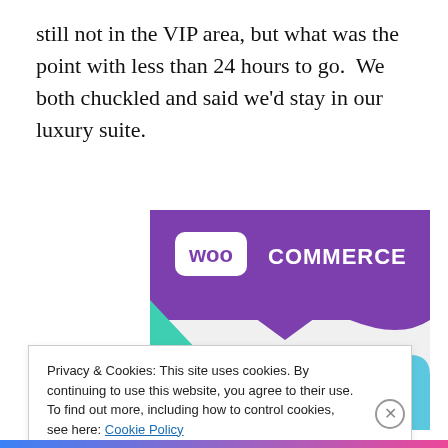still not in the VIP area, but what was the point with less than 24 hours to go.  We both chuckled and said we'd stay in our luxury suite.
[Figure (illustration): WooCommerce branded banner with purple background, teal and light blue geometric shapes, white WOO logo in speech bubble, text reading 'How to start selling subscriptions online']
Privacy & Cookies: This site uses cookies. By continuing to use this website, you agree to their use.
To find out more, including how to control cookies, see here: Cookie Policy